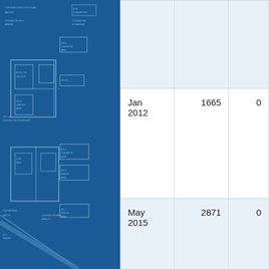[Figure (engineering-diagram): Blueprint-style floor plan or site plan in dark blue with white line drawings showing building outlines, room labels, walkways, and contractor annotations.]
|  |  |  |
| Jan
2012 | 1665 | 0 |
| May
2015 | 2871 | 0 |